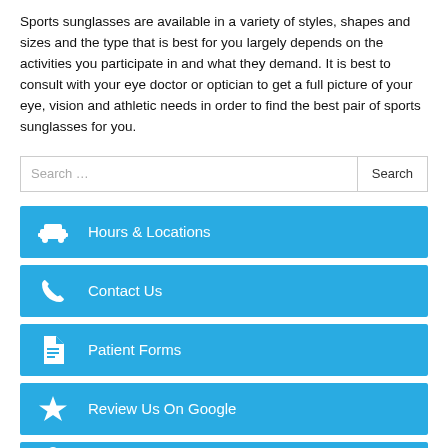Sports sunglasses are available in a variety of styles, shapes and sizes and the type that is best for you largely depends on the activities you participate in and what they demand. It is best to consult with your eye doctor or optician to get a full picture of your eye, vision and athletic needs in order to find the best pair of sports sunglasses for you.
Hours & Locations
Contact Us
Patient Forms
Review Us On Google